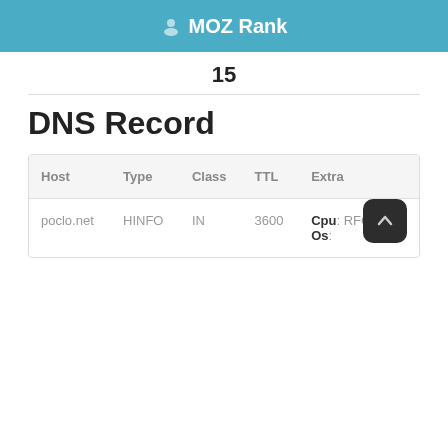MOZ Rank
15
DNS Record
| Host | Type | Class | TTL | Extra |
| --- | --- | --- | --- | --- |
| poclo.net | HINFO | IN | 3600 | Cpu: RFC8482
Os: |